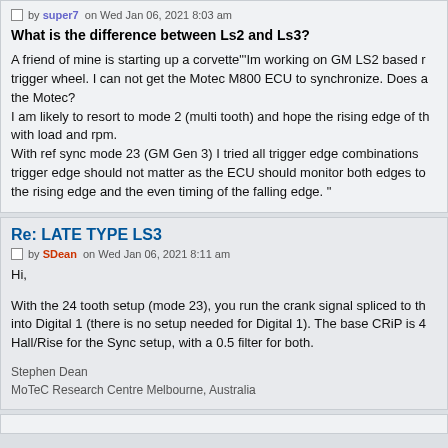by super7 on Wed Jan 06, 2021 8:03 am
What is the difference between Ls2 and Ls3?
A friend of mine is starting up a corvette"'Im working on GM LS2 based trigger wheel. I can not get the Motec M800 ECU to synchronize. Does a the Motec?
I am likely to resort to mode 2 (multi tooth) and hope the rising edge of th with load and rpm.
With ref sync mode 23 (GM Gen 3) I tried all trigger edge combinations trigger edge should not matter as the ECU should monitor both edges to the rising edge and the even timing of the falling edge. "
Re: LATE TYPE LS3
by SDean on Wed Jan 06, 2021 8:11 am
Hi,
With the 24 tooth setup (mode 23), you run the crank signal spliced to th into Digital 1 (there is no setup needed for Digital 1). The base CRiP is 4 Hall/Rise for the Sync setup, with a 0.5 filter for both.
Stephen Dean
MoTeC Research Centre Melbourne, Australia